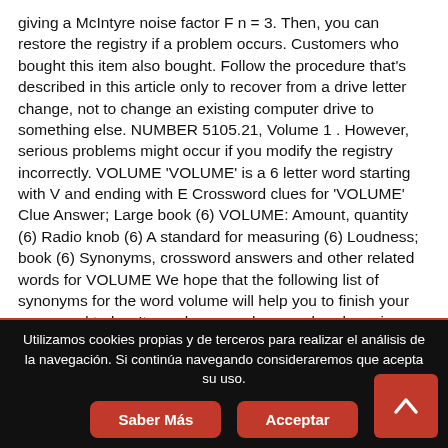giving a McIntyre noise factor F n = 3. Then, you can restore the registry if a problem occurs. Customers who bought this item also bought. Follow the procedure that's described in this article only to recover from a drive letter change, not to change an existing computer drive to something else. NUMBER 5105.21, Volume 1 . However, serious problems might occur if you modify the registry incorrectly. VOLUME 'VOLUME' is a 6 letter word starting with V and ending with E Crossword clues for 'VOLUME' Clue Answer; Large book (6) VOLUME: Amount, quantity (6) Radio knob (6) A standard for measuring (6) Loudness; book (6) Synonyms, crossword answers and other related words for VOLUME We hope that the following list of synonyms for the word volume will help you to finish your crossword today. It may happen when you break a mirror volume or there's a drive configuration change. To change or swap drive letters on volumes that can't otherwise be changed
Utilizamos cookies propias y de terceros para realizar el análisis de la navegación. Si continúa navegando consideraremos que acepta su uso.